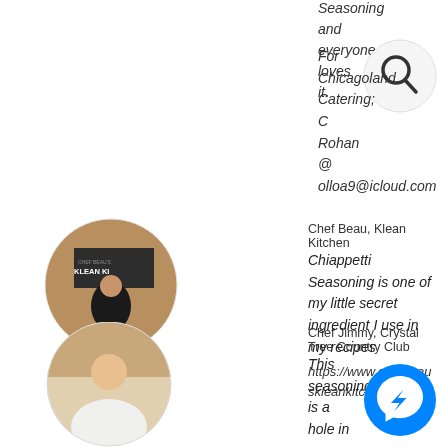Seasoning and everyone loves it.
For Chicagoland Catering; C... Rohan @ olloa9@icloud.com
[Figure (illustration): Search icon circle with magnifying glass in top right corner]
[Figure (photo): Circular profile photo of Chef Beau standing in front of a Klean Kitchen sign]
Chef Beau, Klean Kitchen
Chiappetti Seasoning is one of my little secret ingredient I use in my recipes
https://www.chefbeauskleankitchen.com/
[Figure (photo): Circular profile photo of Chef Jimmy in a white chef coat]
Chef Jimmy, Crystal Tree Country Club
This seasoning is a hole in o... the country club!
[Figure (illustration): Blue Facebook Messenger icon circle in bottom right corner]